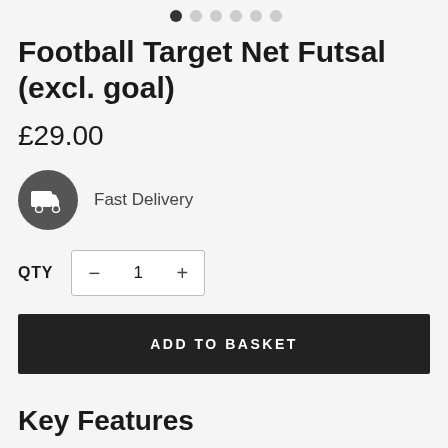[Figure (other): Image carousel dot indicators: one filled dark dot followed by five lighter/empty dots]
Football Target Net Futsal (excl. goal)
£29.00
[Figure (illustration): Dark circular icon with a white delivery truck/van silhouette]
Fast Delivery
QTY  −  1  +
ADD TO BASKET
Key Features